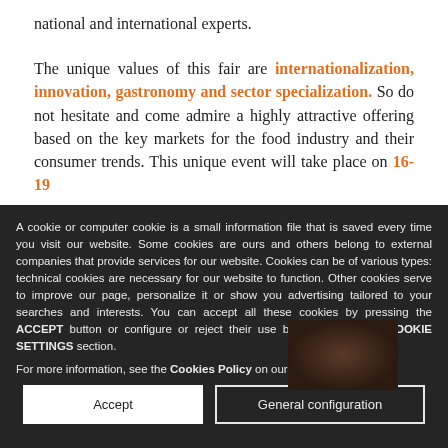national and international experts.
The unique values of this fair are internationalization, innovation, gastronomy and sector specialization. So do not hesitate and come admire a highly attractive offering based on the key markets for the food industry and their consumer trends. This unique event will take place on 16-19
A cookie or computer cookie is a small information file that is saved every time you visit our website. Some cookies are ours and others belong to external companies that provide services for our website. Cookies can be of various types: technical cookies are necessary for our website to function. Other cookies serve to improve our page, personalize it or show you advertising tailored to your searches and interests. You can accept all these cookies by pressing the ACCEPT button or configure or reject their use by clicking on the COOKIE SETTINGS section.
For more information, see the Cookies Policy on our website.